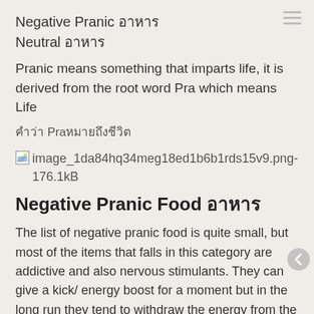Negative Pranic อาหาร
Neutral อาหาร
Pranic means something that imparts life, it is derived from the root word Pra which means Life
คำว่า Pranic หมายถึงสิ่งที่ให้ชีวิต
[Figure (other): image_1da84hq34meg18ed1b6b1rds15v9.png - 176.1kB]
Negative Pranic Food อาหาร
The list of negative pranic food is quite small, but most of the items that falls in this category are addictive and also nervous stimulants. They can give a kick/ energy boost for a moment but in the long run they tend to withdraw the energy from the body.